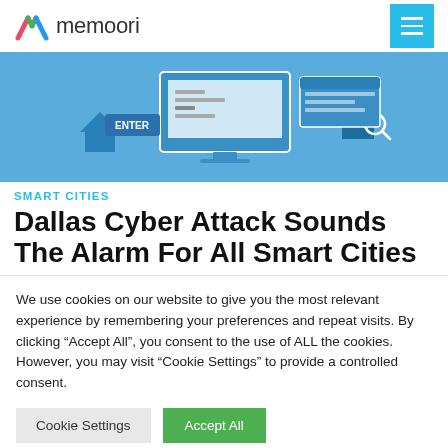memoori
[Figure (illustration): Hero banner showing smart city/cybersecurity illustration with computer screens, house icons, and ENTER button on blue background]
SMART CITIES
Dallas Cyber Attack Sounds The Alarm For All Smart Cities
We use cookies on our website to give you the most relevant experience by remembering your preferences and repeat visits. By clicking “Accept All”, you consent to the use of ALL the cookies. However, you may visit “Cookie Settings” to provide a controlled consent.
Cookie Settings | Accept All